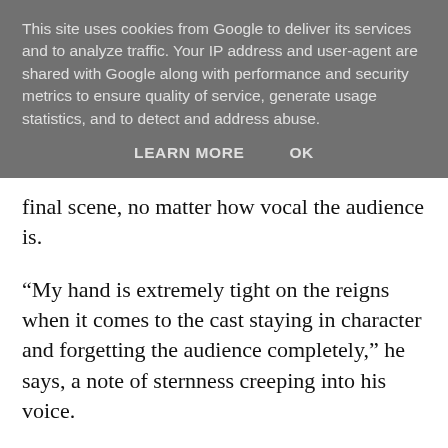This site uses cookies from Google to deliver its services and to analyze traffic. Your IP address and user-agent are shared with Google along with performance and security metrics to ensure quality of service, generate usage statistics, and to detect and address abuse.
LEARN MORE   OK
final scene, no matter how vocal the audience is.
“My hand is extremely tight on the reigns when it comes to the cast staying in character and forgetting the audience completely,” he says, a note of sternness creeping into his voice.
“But I have cast some amazing actors and so as a director I don’t have to get too mechanical; the boys bring an authenticity to the rehearsal room that is a breath of fresh air.”